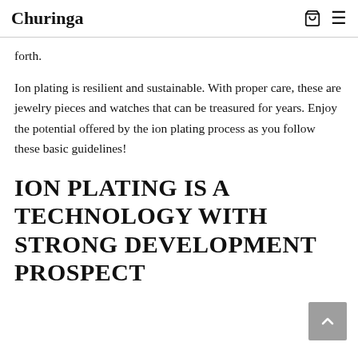Churinga
forth.
Ion plating is resilient and sustainable. With proper care, these are jewelry pieces and watches that can be treasured for years. Enjoy the potential offered by the ion plating process as you follow these basic guidelines!
ION PLATING IS A TECHNOLOGY WITH STRONG DEVELOPMENT PROSPECT